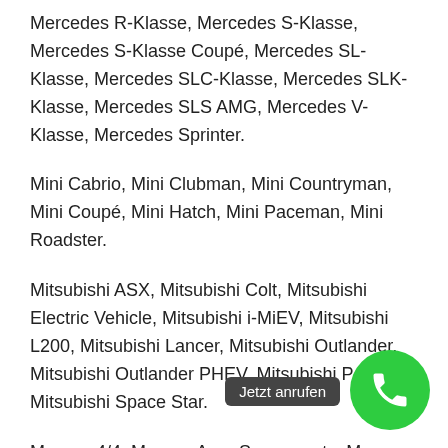Mercedes R-Klasse, Mercedes S-Klasse, Mercedes S-Klasse Coupé, Mercedes SL-Klasse, Mercedes SLC-Klasse, Mercedes SLK-Klasse, Mercedes SLS AMG, Mercedes V-Klasse, Mercedes Sprinter.
Mini Cabrio, Mini Clubman, Mini Countryman, Mini Coupé, Mini Hatch, Mini Paceman, Mini Roadster.
Mitsubishi ASX, Mitsubishi Colt, Mitsubishi Electric Vehicle, Mitsubishi i-MiEV, Mitsubishi L200, Mitsubishi Lancer, Mitsubishi Outlander, Mitsubishi Outlander PHEV, Mitsubishi Pajero, Mitsubishi Space Star.
Morgan 4/4, Morgan Aero Supersports, Morgan Roadster V6.
N
Nissan 370Z, Nissan Cube, Nissan Evalia, Nissan GT-R, Nissan Juke, Nissan Leaf, Nissan Micra, Nissan Murano, Nissan Navara, Nissan Note, Nissan Pathfinder, Nissan Pixo, Nissan Pulsar,